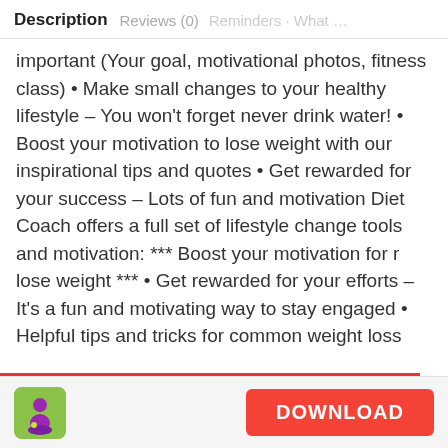Description   Reviews (0)
important (Your goal, motivational photos, fitness class) • Make small changes to your healthy lifestyle – You won't forget never drink water! • Boost your motivation to lose weight with our inspirational tips and quotes • Get rewarded for your success – Lots of fun and motivation Diet Coach offers a full set of lifestyle change tools and motivation: *** Boost your motivation for r lose weight *** • Get rewarded for your efforts – It's a fun and motivating way to stay engaged • Helpful tips and tricks for common weight loss setbacks – Food cravings, Exercise laziness, family…